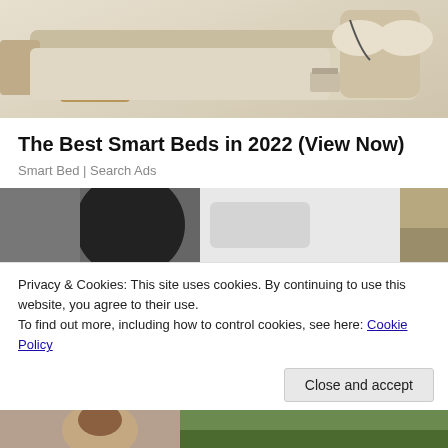[Figure (photo): Photo of a smart bed with storage drawers and accessories, beige/cream color, shown from above at an angle]
The Best Smart Beds in 2022 (View Now)
Smart Bed | Search Ads
[Figure (photo): Photo showing a person in dark clothing near a white vehicle or appliance, with outdoor scenery visible]
Privacy & Cookies: This site uses cookies. By continuing to use this website, you agree to their use.
To find out more, including how to control cookies, see here: Cookie Policy
Close and accept
[Figure (photo): Partial photo at the bottom showing a person's face and green outdoor background]